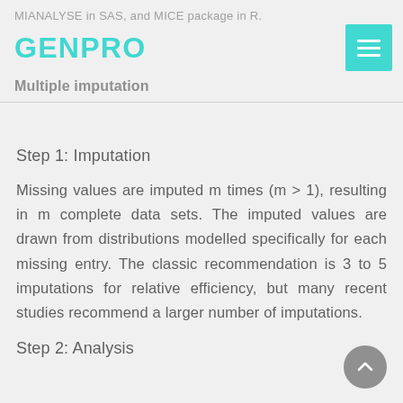MIANALYSE in SAS, and MICE package in R.
GENPRO
Multiple imputation
Step 1: Imputation
Missing values are imputed m times (m > 1), resulting in m complete data sets. The imputed values are drawn from distributions modelled specifically for each missing entry. The classic recommendation is 3 to 5 imputations for relative efficiency, but many recent studies recommend a larger number of imputations.
Step 2: Analysis